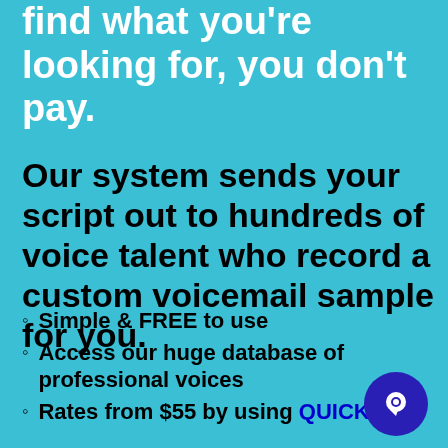find what you're looking for, you don't pay.
Our system sends your script out to hundreds of voice talent who record a custom voicemail sample for you.
Simple & FREE to use
Access our huge database of professional voices
Rates from $55 by using QUICKcast
[Figure (illustration): Dark blue circular chat bubble icon in bottom right corner]